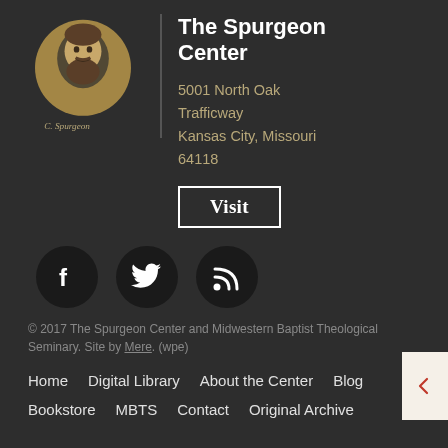[Figure (illustration): Circular portrait illustration of Charles Spurgeon in tan/gold tones with a signature below, against a dark background. Separated from text by a vertical line.]
The Spurgeon Center
5001 North Oak Trafficway
Kansas City, Missouri
64118
Visit
[Figure (other): Three social media icons in dark circular buttons: Facebook (F logo), Twitter (bird logo), RSS feed icon.]
© 2017 The Spurgeon Center and Midwestern Baptist Theological Seminary. Site by Mere. (wpe)
Home
Digital Library
About the Center
Blog
Bookstore
MBTS
Contact
Original Archive